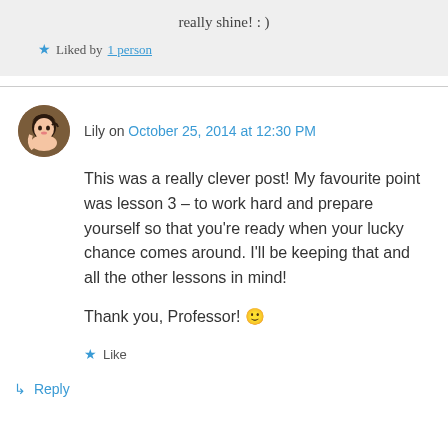really shine! : )
★ Liked by 1 person
Lily on October 25, 2014 at 12:30 PM
This was a really clever post! My favourite point was lesson 3 – to work hard and prepare yourself so that you're ready when your lucky chance comes around. I'll be keeping that and all the other lessons in mind!

Thank you, Professor! 🙂
★ Like
↳ Reply